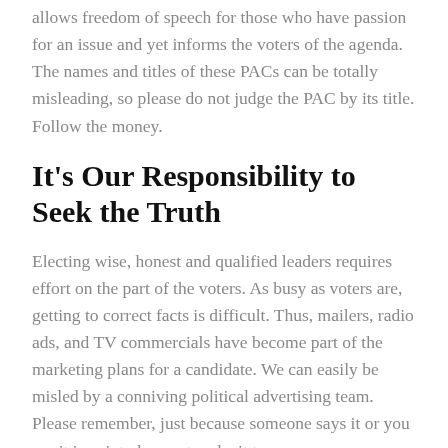allows freedom of speech for those who have passion for an issue and yet informs the voters of the agenda. The names and titles of these PACs can be totally misleading, so please do not judge the PAC by its title. Follow the money.
It's Our Responsibility to Seek the Truth
Electing wise, honest and qualified leaders requires effort on the part of the voters. As busy as voters are, getting to correct facts is difficult. Thus, mailers, radio ads, and TV commercials have become part of the marketing plans for a candidate. We can easily be misled by a conniving political advertising team. Please remember, just because someone says it or you see it in print, does not make it true.
Our lack of attention is one reason we lack good leaders. We must wake up and make a commitment to be more informed and more responsible when voting. Each step must